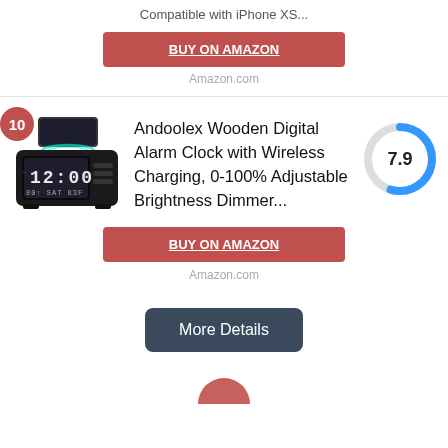Compatible with iPhone XS...
BUY ON AMAZON
Amazon.com
[Figure (photo): Andoolex wooden digital alarm clock with wireless charging showing 12:00 on display, with a phone resting on top for wireless charging]
Andoolex Wooden Digital Alarm Clock with Wireless Charging, 0-100% Adjustable Brightness Dimmer...
[Figure (donut-chart): Score gauge showing 7.9 out of 10, displayed as a partial donut chart in blue and grey]
BUY ON AMAZON
Amazon.com
More Details